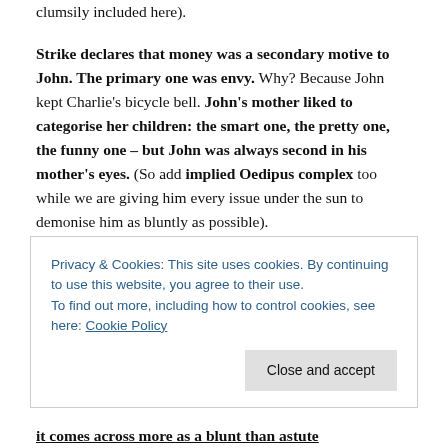clumsily included here).
Strike declares that money was a secondary motive to John. The primary one was envy. Why? Because John kept Charlie's bicycle bell. John's mother liked to categorise her children: the smart one, the pretty one, the funny one – but John was always second in his mother's eyes. (So add implied Oedipus complex too while we are giving him every issue under the sun to demonise him as bluntly as possible).
The leather gloves were the fatal mistake. They
Privacy & Cookies: This site uses cookies. By continuing to use this website, you agree to their use.
To find out more, including how to control cookies, see here: Cookie Policy
it comes across more as a blunt than astute